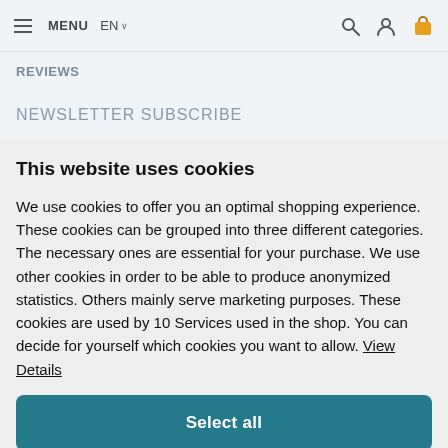≡ MENU  EN ∨
REVIEWS
NEWSLETTER SUBSCRIBE
This website uses cookies
We use cookies to offer you an optimal shopping experience. These cookies can be grouped into three different categories. The necessary ones are essential for your purchase. We use other cookies in order to be able to produce anonymized statistics. Others mainly serve marketing purposes. These cookies are used by 10 Services used in the shop. You can decide for yourself which cookies you want to allow. View Details
Select all